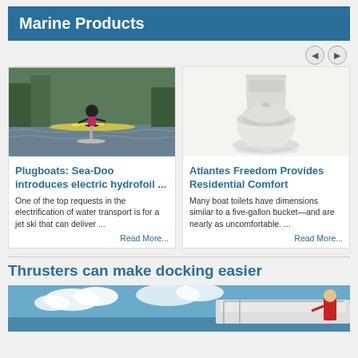Marine Products
[Figure (photo): Person riding an electric hydrofoil watercraft on a lake, wearing a wetsuit]
Plugboats: Sea-Doo introduces electric hydrofoil ...
One of the top requests in the electrification of water transport is for a jet ski that can deliver ...
Read More...
[Figure (photo): White ceramic marine toilet with angled back, residential style]
Atlantes Freedom Provides Residential Comfort
Many boat toilets have dimensions similar to a five-gallon bucket—and are nearly as uncomfortable. ...
Read More...
Thrusters can make docking easier
[Figure (photo): Boat deck with blue sky and water, person visible at the side]